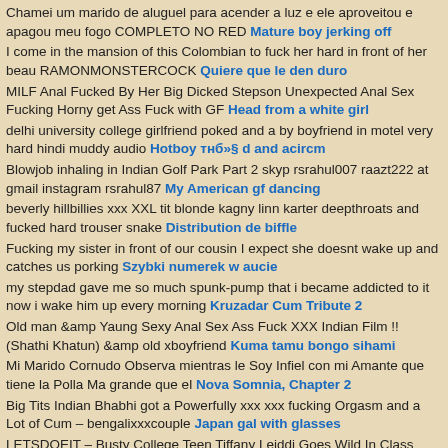Chamei um marido de aluguel para acender a luz e ele aproveitou e apagou meu fogo COMPLETO NO RED Mature boy jerking off
I come in the mansion of this Colombian to fuck her hard in front of her beau RAMONMONSTERCOCK Quiere que le den duro
MILF Anal Fucked By Her Big Dicked Stepson Unexpected Anal Sex Fucking Horny get Ass Fuck with GF Head from a white girl
delhi university college girlfriend poked and a by boyfriend in motel very hard hindi muddy audio Hotboy тнб»§ d and acircm
Blowjob inhaling in Indian Golf Park Part 2 skyp rsrahul007 raazt222 at gmail instagram rsrahul87 My American gf dancing
beverly hillbillies xxx XXL tit blonde kagny linn karter deepthroats and fucked hard trouser snake Distribution de biffle
Fucking my sister in front of our cousin I expect she doesnt wake up and catches us porking Szybki numerek w aucie
my stepdad gave me so much spunk-pump that i became addicted to it now i wake him up every morning Kruzadar Cum Tribute 2
Old man &amp Yaung Sexy Anal Sex Ass Fuck XXX Indian Film !! (Shathi Khatun) &amp old xboyfriend Kuma tamu bongo sihami
Mi Marido Cornudo Observa mientras le Soy Infiel con mi Amante que tiene la Polla Ma grande que el Nova Somnia, Chapter 2
Big Tits Indian Bhabhi got a Powerfully xxx xxx fucking Orgasm and a Lot of Cum – bengalixxxcouple Japan gal with glasses
LETSDOEIT – Busty College Teen Tiffany Leiddi Goes Wild In Class With Her